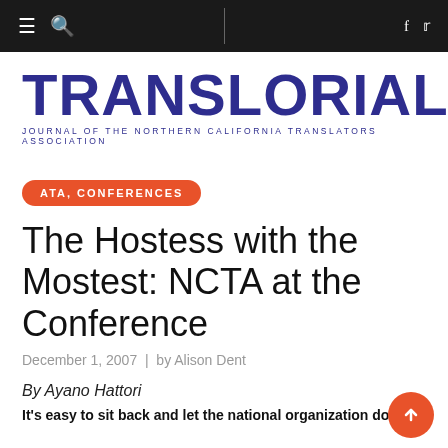≡ 🔍 | f 🐦
TRANSLORIAL
JOURNAL OF THE NORTHERN CALIFORNIA TRANSLATORS ASSOCIATION
ATA, CONFERENCES
The Hostess with the Mostest: NCTA at the Conference
December 1, 2007 | by Alison Dent
By Ayano Hattori
It's easy to sit back and let the national organization do...